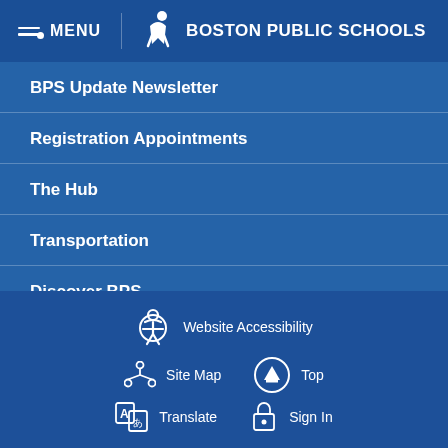MENU  BOSTON PUBLIC SCHOOLS
BPS Update Newsletter
Registration Appointments
The Hub
Transportation
Discover BPS
Request a Transcript
Website Accessibility   Site Map   Top   Translate   Sign In